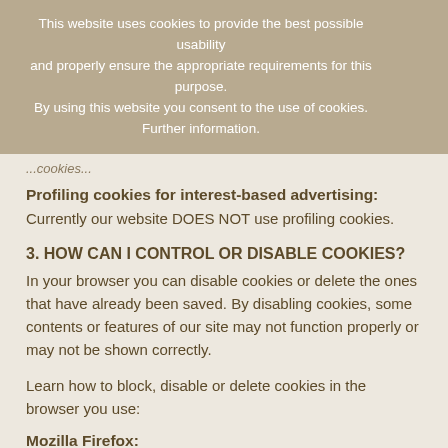This website uses cookies to provide the best possible usability and properly ensure the appropriate requirements for this purpose.
By using this website you consent to the use of cookies. Further information.
...cookies...
Profiling cookies for interest-based advertising:
Currently our website DOES NOT use profiling cookies.
3. HOW CAN I CONTROL OR DISABLE COOKIES?
In your browser you can disable cookies or delete the ones that have already been saved. By disabling cookies, some contents or features of our site may not function properly or may not be shown correctly.
Learn how to block, disable or delete cookies in the browser you use:
Mozilla Firefox:
support.mozilla.org/en-US/kb/enable-and-disable-cookies-